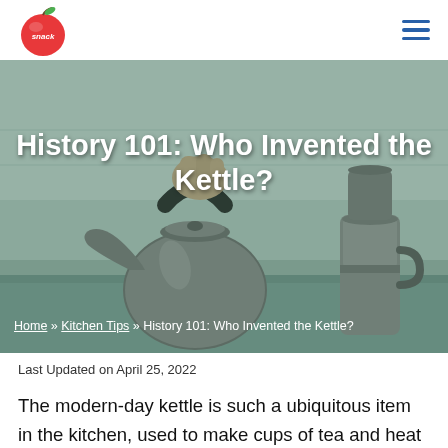[Figure (logo): Red apple logo with a green leaf and the word 'snack' written in white cursive on the apple]
[Figure (photo): A hand holding a stainless steel whistling kettle on a kitchen stovetop, with a moka pot visible in the background. The image has a green tinted overlay.]
History 101: Who Invented the Kettle?
Home » Kitchen Tips » History 101: Who Invented the Kettle?
Last Updated on April 25, 2022
The modern-day kettle is such a ubiquitous item in the kitchen, used to make cups of tea and heat water for cooking everyday food. But have you ever found yourself wondering who